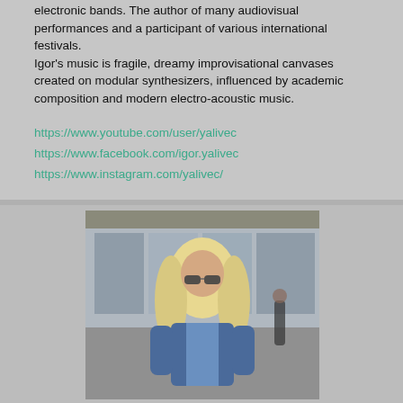electronic bands. The author of many audiovisual performances and a participant of various international festivals.
Igor's music is fragile, dreamy improvisational canvases created on modular synthesizers, influenced by academic composition and modern electro-acoustic music.
https://www.youtube.com/user/yalivec
https://www.facebook.com/igor.yalivec
https://www.instagram.com/yalivec/
[Figure (photo): A man with long blonde hair and sunglasses, wearing a blue jacket and vest, photographed in what appears to be an industrial or warehouse space. Another person is visible in the background.]